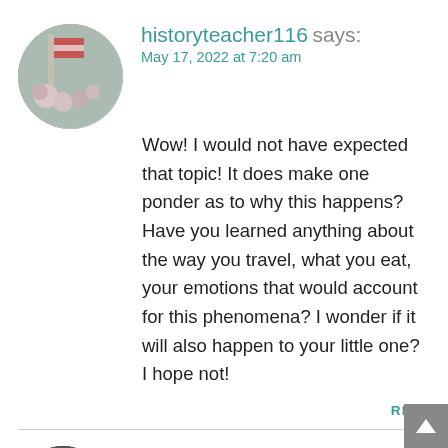[Figure (photo): Circular avatar photo showing flowers and an American flag in background]
historyteacher116 says:
May 17, 2022 at 7:20 am
Wow! I would not have expected that topic! It does make one ponder as to why this happens? Have you learned anything about the way you travel, what you eat, your emotions that would account for this phenomena? I wonder if it will also happen to your little one? I hope not!
REPLY
[Figure (photo): Circular avatar photo of person (partially visible at bottom of page)]
Anna says: